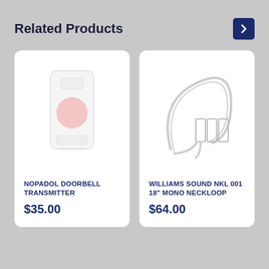Related Products
[Figure (illustration): Nopadol doorbell transmitter product image — white rectangular device with a round pink/salmon button]
NOPADOL DOORBELL TRANSMITTER
$35.00
[Figure (illustration): Williams Sound NKL 001 neckloop — looped wire/neckloop with small rectangular connector block, gray/white line art]
WILLIAMS SOUND NKL 001 18" MONO NECKLOOP
$64.00